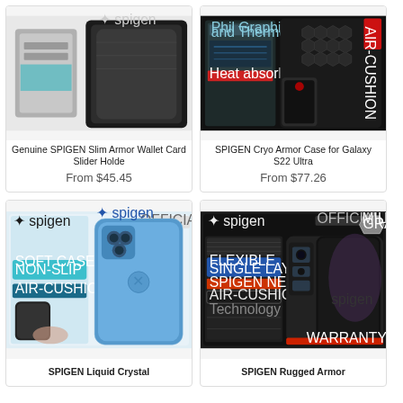[Figure (photo): Spigen Slim Armor Wallet Card Slider Holder phone case product image]
Genuine SPIGEN Slim Armor Wallet Card Slider Holde
From $45.45
[Figure (photo): SPIGEN Cryo Armor Case for Galaxy S22 Ultra product image]
SPIGEN Cryo Armor Case for Galaxy S22 Ultra
From $77.26
[Figure (photo): SPIGEN Liquid Crystal iPhone 13 Pro case product image]
SPIGEN Liquid Crystal
[Figure (photo): SPIGEN Rugged Armor case product image]
SPIGEN Rugged Armor